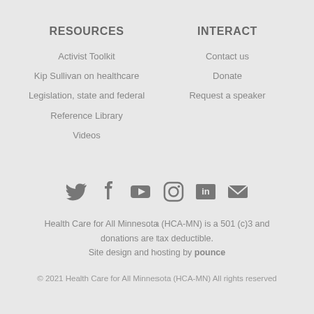RESOURCES
Activist Toolkit
Kip Sullivan on healthcare
Legislation, state and federal
Reference Library
Videos
INTERACT
Contact us
Donate
Request a speaker
[Figure (infographic): Social media icons: Twitter, Facebook, YouTube, Instagram, LinkedIn, Email]
Health Care for All Minnesota (HCA-MN) is a 501 (c)3 and donations are tax deductible. Site design and hosting by pounce
© 2021 Health Care for All Minnesota (HCA-MN) All rights reserved